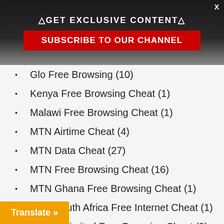△GET EXCLUSIVE CONTENT△
SUBSCRIBE TO OUR CHANNEL
Glo Free Browsing (10)
Kenya Free Browsing Cheat (1)
Malawi Free Browsing Cheat (1)
MTN Airtime Cheat (4)
MTN Data Cheat (27)
MTN Free Browsing Cheat (16)
MTN Ghana Free Browsing Cheat (1)
MTN South Africa Free Internet Cheat (1)
MTN Unlimited Free Browsing Cheat (9)
Ntel Free Browsing Cheat (1)
Tanzania Free Browsing Cheat (1)
Vodafone Free Data Cheat (1)
Vodafone Free Internet Code (2)